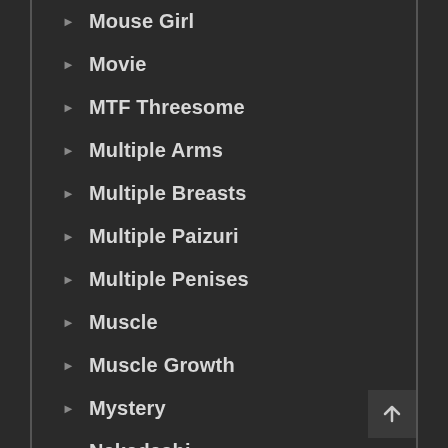Mouse Girl
Movie
MTF Threesome
Multiple Arms
Multiple Breasts
Multiple Paizuri
Multiple Penises
Muscle
Muscle Growth
Mystery
Nakadashi
Nazi
Netorare